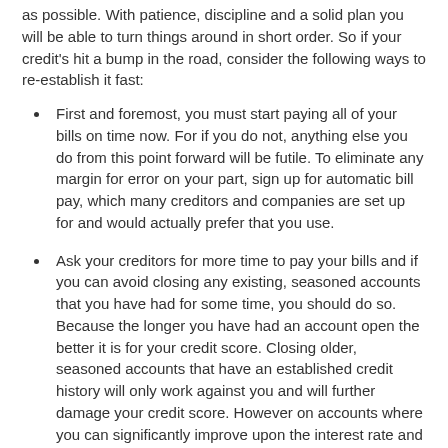as possible. With patience, discipline and a solid plan you will be able to turn things around in short order. So if your credit's hit a bump in the road, consider the following ways to re-establish it fast:
First and foremost, you must start paying all of your bills on time now. For if you do not, anything else you do from this point forward will be futile. To eliminate any margin for error on your part, sign up for automatic bill pay, which many creditors and companies are set up for and would actually prefer that you use.
Ask your creditors for more time to pay your bills and if you can avoid closing any existing, seasoned accounts that you have had for some time, you should do so. Because the longer you have had an account open the better it is for your credit score. Closing older, seasoned accounts that have an established credit history will only work against you and will further damage your credit score. However on accounts where you can significantly improve upon the interest rate and fees charged, and you would save good money by closing and transferring the